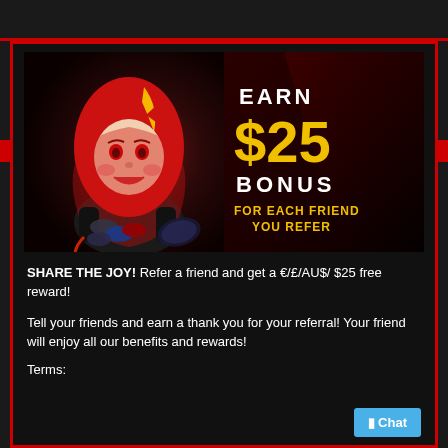[Figure (illustration): Casino promotional banner showing a cartoon devil woman with red hair holding poker chips, alongside text 'EARN $25 BONUS FOR EACH FRIEND YOU REFER' in white and gold on dark red/black background]
SHARE THE JOY! Refer a friend and get a €/£/AU$/ $25 free reward!
Tell your friends and earn a thank you for your referral! Your friend will enjoy all our benefits and rewards!
Terms: